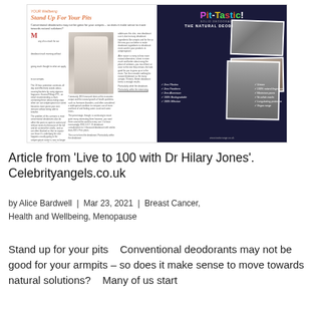[Figure (photo): Magazine spread showing left side with article 'Stand Up For Your Pits' with article text and woman photo, and right side with Pit-Tastic natural deodorant bar advertisement with dark background, product photos, and checklist features.]
Article from 'Live to 100 with Dr Hilary Jones'. Celebrityangels.co.uk
by Alice Bardwell | Mar 23, 2021 | Breast Cancer, Health and Wellbeing, Menopause
Stand up for your pits   Conventional deodorants may not be good for your armpits – so does it make sense to move towards natural solutions?   Many of us start